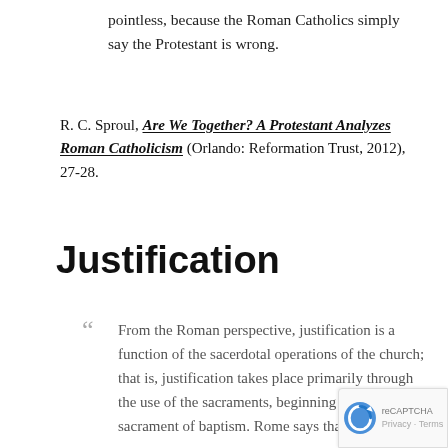pointless, because the Roman Catholics simply say the Protestant is wrong.
R. C. Sproul, Are We Together? A Protestant Analyzes Roman Catholicism (Orlando: Reformation Trust, 2012), 27-28.
Justification
From the Roman perspective, justification is a function of the sacerdotal operations of the church; that is, justification takes place primarily through the use of the sacraments, beginning with the sacrament of baptism. Rome says that the sacrament